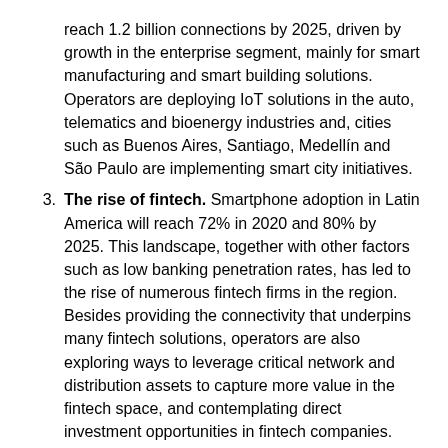reach 1.2 billion connections by 2025, driven by growth in the enterprise segment, mainly for smart manufacturing and smart building solutions. Operators are deploying IoT solutions in the auto, telematics and bioenergy industries and, cities such as Buenos Aires, Santiago, Medellín and São Paulo are implementing smart city initiatives.
3. The rise of fintech. Smartphone adoption in Latin America will reach 72% in 2020 and 80% by 2025. This landscape, together with other factors such as low banking penetration rates, has led to the rise of numerous fintech firms in the region. Besides providing the connectivity that underpins many fintech solutions, operators are also exploring ways to leverage critical network and distribution assets to capture more value in the fintech space, and contemplating direct investment opportunities in fintech companies.
The report also highlights a series of policy recommendations for the digital transformation of Latin America, including: